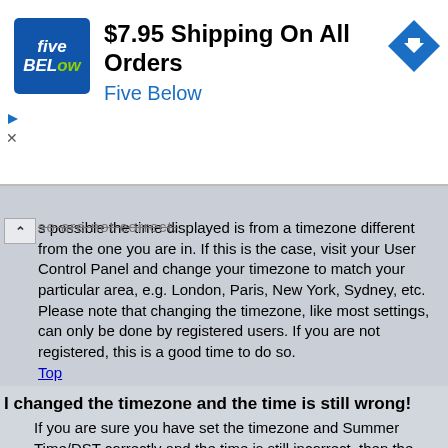[Figure (screenshot): Five Below advertisement banner: logo, '$7.95 Shipping On All Orders', 'Five Below' in blue, with a blue diamond arrow icon. Play and close (X) controls below.]
s possible the time displayed is from a timezone different from the one you are in. If this is the case, visit your User Control Panel and change your timezone to match your particular area, e.g. London, Paris, New York, Sydney, etc. Please note that changing the timezone, like most settings, can only be done by registered users. If you are not registered, this is a good time to do so. Top
I changed the timezone and the time is still wrong!
If you are sure you have set the timezone and Summer Time/DST correctly and the time is still incorrect, then the time stored on the server clock is incorrect. Please notify an administrator to correct the problem. Top
My language is not in the list!
Either the administrator has not installed your language